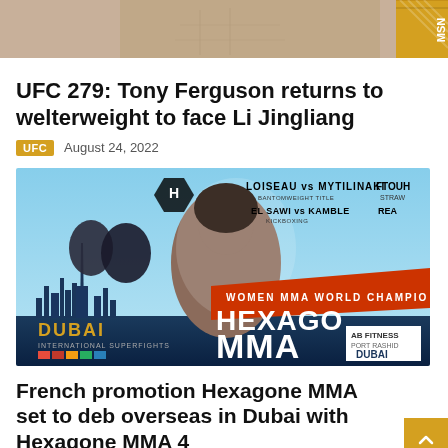[Figure (photo): Top portion of a MMA fighter's torso with a gold/yellow branded logo overlay on the right side]
UFC 279: Tony Ferguson returns to welterweight to face Li Jingliang
UFC   August 24, 2022
[Figure (photo): Hexagone MMA event promotional poster showing fighters, Dubai skyline, and event details including matchups: LOISEAU vs MYTILINAKI (Bantomweight Title), EL SAWI vs KAMBLE (Kickboxing), FTOUH, REA. Text: WOMEN MMA WORLD CHAMPIO, HEXAGON MMA, DUBAI INTERNATIONAL SUPERFIGHTS, AB FITNESS PORT RASHID DUBAI]
French promotion Hexagone MMA set to deb overseas in Dubai with Hexagone MMA 4